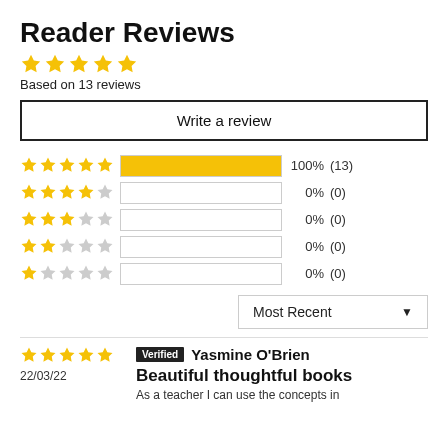Reader Reviews
★★★★★
Based on 13 reviews
Write a review
[Figure (bar-chart): Rating distribution]
Most Recent ▼
★★★★★
22/03/22
Verified  Yasmine O'Brien
Beautiful thoughtful books
As a teacher I can use the concepts in